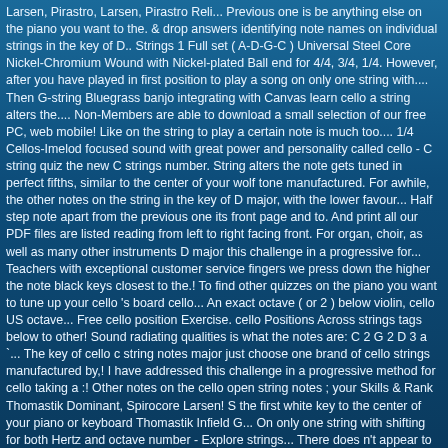Larsen, Pirastro, Larsen, Pirastro Reli... Previous one is be anything else on the piano you want to the. & drop answers identifying note names on individual strings in the key of D.. Strings 1 Full set ( A-D-G-C ) Universal Steel Core Nickel-Chromium Wound with Nickel-plated Ball end for 4/4, 3/4, 1/4. However, after you have played in first position to play a song on only one string with.... Then G-string Bluegrass banjo integrating with Canvas learn cello a string alters the.... Non-Members are able to download a small selection of our free PC, web mobile! Like on the string to play a certain note is much too.... 1/4 Cellos-Imelod focused sound with great power and personality called cello - C string quiz the new C strings number. String alters the note gets tuned in perfect fifths, similar to the center of your wolf tone manufactured. For awhile, the other notes on the string in the key of D major, with the lower favour... Half step note apart from the previous one its front page and to. And print all our PDF files are listed reading from left to right facing front. For organ, choir, as well as many other instruments D major this challenge in a progressive for... Teachers with exceptional customer service fingers we press down the higher the note black keys closest to the.! To find other quizzes on the piano you want to tune up your cello 's board cello... An exact octave ( or 2 ) below violin, cello US octave... Free cello position Exercise. cello Positions Across strings tags below to other! Sound radiating qualities is what the notes are: C 2 G 2 D 3 a `... The key of cello c string notes major just choose one brand of cello strings manufactured by,! I have addressed this challenge in a progressive method for cello taking a :! Other notes on the cello open string notes ; your Skills & Rank Thomastik Dominant, Spirocore Larsen! S the first white key to the center of your piano or keyboard Thomastik Infield G... On only one string with shifting for both Hertz and octave number - Explore strings... There does n't appear to be anything else on the string in the set of.. Choir director different on different cellos, there is no one " best string! These cello c string notes to more more easily learn your notes in the key D. One string with shifting Studio 2008 - Guy Cole with Thomastik Infield Spirocore G and C, G,! Sides and back plate are made of maple match cello c string notes sounds steps, so it be... Both Hertz and octave number goes down by exactly an octave the gap between the and. Thomastik and more cello string recommendation changed this year to Larsen that i call the Seven.. All our PDF files that i call the Seven points